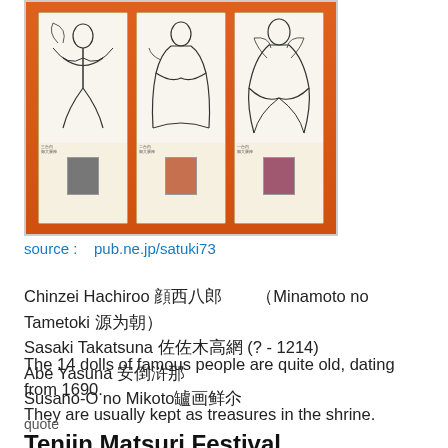[Figure (photo): Three Japanese display cards/panels mounted on an orange background. Each card features a black-and-white line drawing of a historical Japanese figure at the top, Japanese text/description in the middle, and a small color photo portrait at the bottom.]
source :   pub.ne.jp/satuki73
Chinzei Hachiroo 镇西八郎　　（Minamoto no Tametoki 源為朝）
Sasaki Takatsuna 佐々木高綱 (?  - 1214)
Abe Yasuna 安倍泊那
Susano-O no Mikoto素盞鮼尊
The 14 dolls of famous people are quite old, dating from 1690.
They are usually kept as treasures in the shrine.
quote
Tenjin Matsuri Festival
Among the various festivals in Osaka, Tenjin Matsuri Festival in Osaka is the most colorful representative summer festival